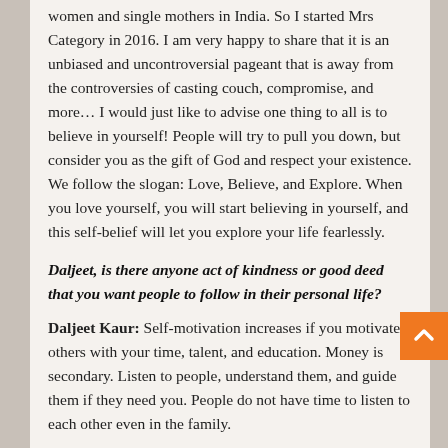women and single mothers in India. So I started Mrs Category in 2016. I am very happy to share that it is an unbiased and uncontroversial pageant that is away from the controversies of casting couch, compromise, and more… I would just like to advise one thing to all is to believe in yourself! People will try to pull you down, but consider you as the gift of God and respect your existence. We follow the slogan: Love, Believe, and Explore. When you love yourself, you will start believing in yourself, and this self-belief will let you explore your life fearlessly.
Daljeet, is there anyone act of kindness or good deed that you want people to follow in their personal life?
Daljeet Kaur: Self-motivation increases if you motivate others with your time, talent, and education. Money is secondary. Listen to people, understand them, and guide them if they need you. People do not have time to listen to each other even in the family.